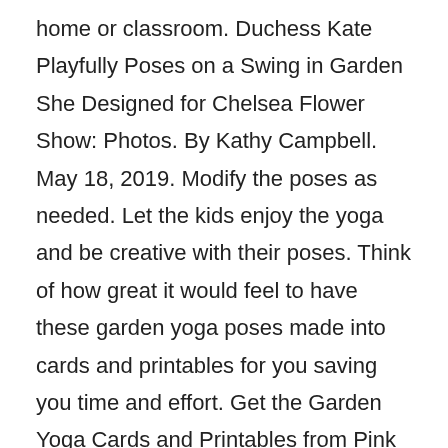home or classroom. Duchess Kate Playfully Poses on a Swing in Garden She Designed for Chelsea Flower Show: Photos. By Kathy Campbell. May 18, 2019. Modify the poses as needed. Let the kids enjoy the yoga and be creative with their poses. Think of how great it would feel to have these garden yoga poses made into cards and printables for you saving you time and effort. Get the Garden Yoga Cards and Printables from Pink Oatmeal. Garden Yoga inspired by Eric Carle Books. Another way to learn about the garden is through movement. So let's combine garden books by Eric Carle and yoga poses for kids. To get started, make sure you have a clear space so your little ones can get creative and spread out. Better yet, go out into the garden for some yoga fun.